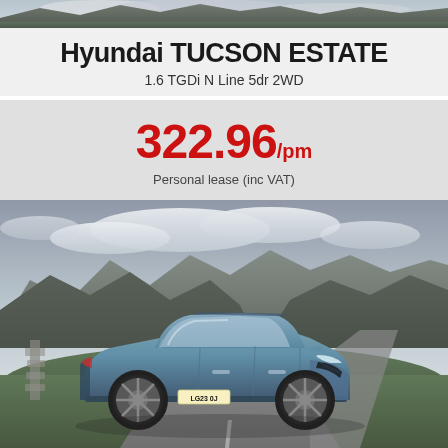[Figure (photo): Top strip showing a scenic landscape with mountains and sky]
Hyundai TUCSON ESTATE
1.6 TGDi N Line 5dr 2WD
322.96/pm Personal lease (inc VAT)
[Figure (photo): Hyundai Tucson Estate SUV in blue-grey colour parked on a winding road with dramatic mountain landscape and cloudy sky in the background]